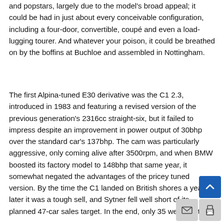and popstars, largely due to the model's broad appeal; it could be had in just about every conceivable configuration, including a four-door, convertible, coupé and even a load-lugging tourer. And whatever your poison, it could be breathed on by the boffins at Buchloe and assembled in Nottingham.
The first Alpina-tuned E30 derivative was the C1 2.3, introduced in 1983 and featuring a revised version of the previous generation's 2316cc straight-six, but it failed to impress despite an improvement in power output of 30bhp over the standard car's 137bhp. The cam was particularly aggressive, only coming alive after 3500rpm, and when BMW boosted its factory model to 148bhp that same year, it somewhat negated the advantages of the pricey tuned version. By the time the C1 landed on British shores a year later it was a tough sell, and Sytner fell well short of its planned 47-car sales target. In the end, only 35 were built.